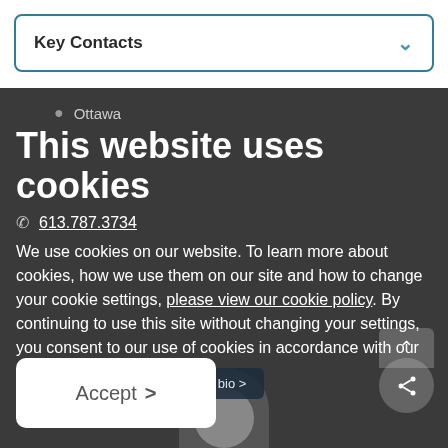Key Contacts
Ottawa
This website uses cookies
613.787.3734
We use cookies on our website. To learn more about cookies, how we use them on our site and how to change your cookie settings, please view our cookie policy. By continuing to use this site without changing your settings, you consent to our use of cookies in accordance with our cookie policy.
View full bio
Accept